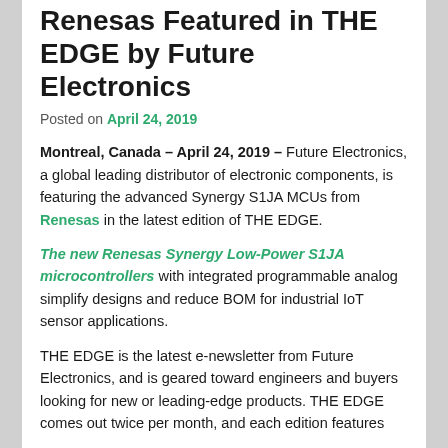Renesas Featured in THE EDGE by Future Electronics
Posted on April 24, 2019
Montreal, Canada – April 24, 2019 – Future Electronics, a global leading distributor of electronic components, is featuring the advanced Synergy S1JA MCUs from Renesas in the latest edition of THE EDGE.
The new Renesas Synergy Low-Power S1JA microcontrollers with integrated programmable analog simplify designs and reduce BOM for industrial IoT sensor applications.
THE EDGE is the latest e-newsletter from Future Electronics, and is geared toward engineers and buyers looking for new or leading-edge products. THE EDGE comes out twice per month, and each edition features